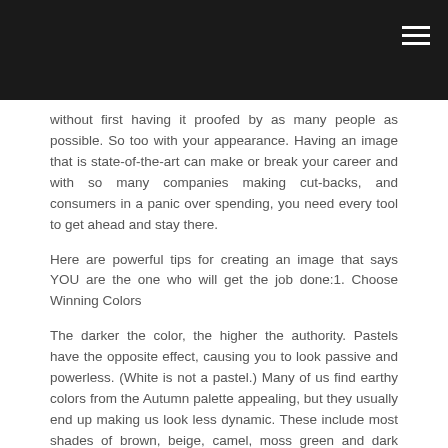without first having it proofed by as many people as possible. So too with your appearance. Having an image that is state-of-the-art can make or break your career and with so many companies making cut-backs, and consumers in a panic over spending, you need every tool to get ahead and stay there.
Here are powerful tips for creating an image that says YOU are the one who will get the job done:1. Choose Winning Colors
The darker the color, the higher the authority. Pastels have the opposite effect, causing you to look passive and powerless. (White is not a pastel.) Many of us find earthy colors from the Autumn palette appealing, but they usually end up making us look less dynamic. These include most shades of brown, beige, camel, moss green and dark olive green. Neon colors such as orange and lime green tend to look too flashy. Instead, choose rich colors like royal blue and magenta, which are classy and give the impression of sophistication and professionalism. 2. Choose Outfits that Suggest Power
Unlike men, we have plenty of clothing options and needn't